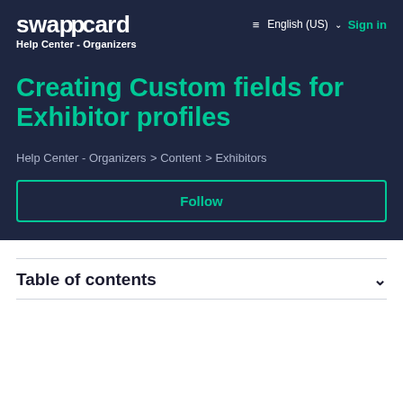swapcard Help Center - Organizers
Creating Custom fields for Exhibitor profiles
Help Center - Organizers > Content > Exhibitors
Follow
Table of contents